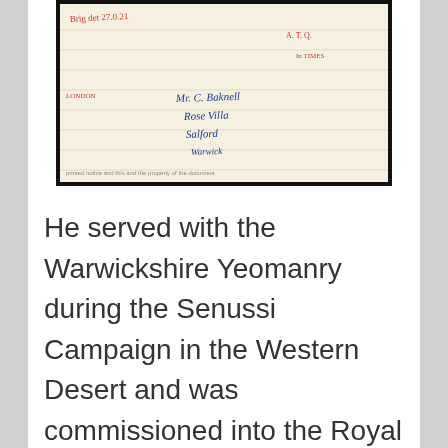[Figure (photo): A scanned handwritten document or letter, cream/yellowed paper with handwritten text in blue ink and some red markings. The visible handwritten text appears to include an address: 'Mr. C. Baknell, Rose Villa, Salford' and other partial text.]
He served with the Warwickshire Yeomanry during the Senussi Campaign in the Western Desert and was commissioned into the Royal Flying Corps on 29 January 1916. (confirmed in list of those commissioned from Warwickshire Yeomanry